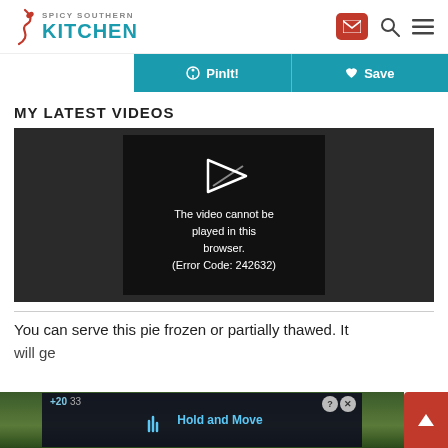Spicy Southern Kitchen
[Figure (screenshot): Toolbar with Pinterest PinIt! and Save buttons on teal background]
MY LATEST VIDEOS
[Figure (screenshot): Video player showing error: The video cannot be played in this browser. (Error Code: 242632)]
You can serve this pie frozen or partially thawed. It will ge
[Figure (screenshot): Ad overlay showing Hold and Move with trees in background]